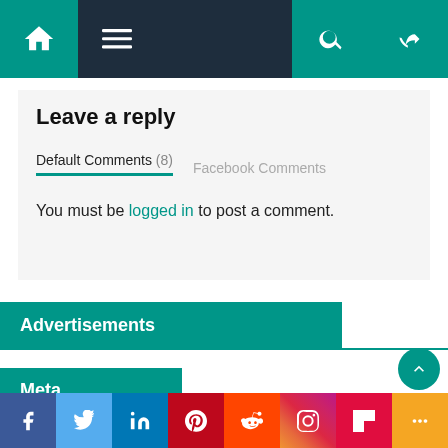[Figure (screenshot): Navigation bar with home icon, hamburger menu, search icon, and shuffle icon on dark background with teal accent]
Leave a reply
Default Comments (8)   Facebook Comments
You must be logged in to post a comment.
Advertisements
Meta
Register
[Figure (infographic): Social media share bar with Facebook, Twitter, LinkedIn, Pinterest, Reddit, Instagram, Flipboard, and More buttons]